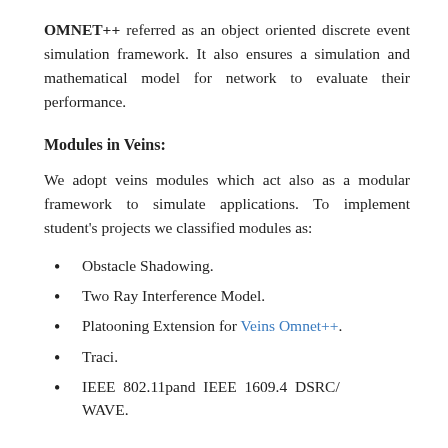OMNET++ referred as an object oriented discrete event simulation framework. It also ensures a simulation and mathematical model for network to evaluate their performance.
Modules in Veins:
We adopt veins modules which act also as a modular framework to simulate applications. To implement student's projects we classified modules as:
Obstacle Shadowing.
Two Ray Interference Model.
Platooning Extension for Veins Omnet++.
Traci.
IEEE 802.11pand IEEE 1609.4 DSRC/WAVE.